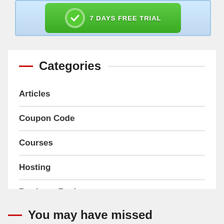[Figure (screenshot): Green button banner ad with '7 DAYS FREE TRIAL' text on a light blue background]
Categories
Articles
Coupon Code
Courses
Hosting
Products Review
Video Marketing
You may have missed